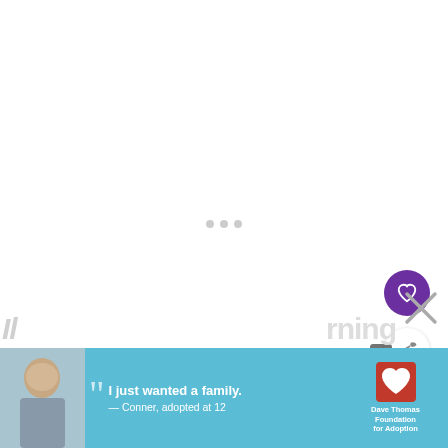[Figure (screenshot): White content loading area with three grey dots in center indicating loading state]
[Figure (other): Purple circular heart/favorite button]
[Figure (other): White circular share button with share icon]
[Figure (other): What's Next card showing thumbnail and title '33 Jolly July Marketing...']
[Figure (other): Advertisement banner: 'I just wanted a family. — Conner, adopted at 12' with Dave Thomas Foundation for Adoption logo]